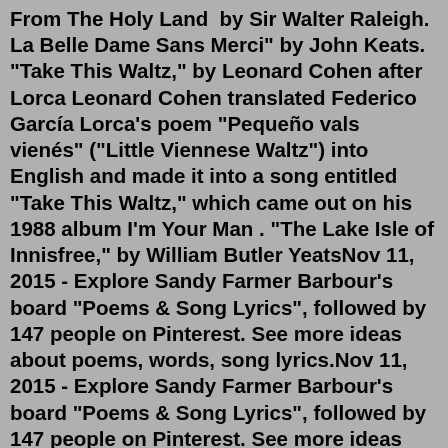From The Holy Land  by Sir Walter Raleigh.  La Belle Dame Sans Merci" by John Keats. "Take This Waltz," by Leonard Cohen after Lorca Leonard Cohen translated Federico García Lorca's poem "Pequeño vals vienés" ("Little Viennese Waltz") into English and made it into a song entitled "Take This Waltz," which came out on his 1988 album I'm Your Man . "The Lake Isle of Innisfree," by William Butler YeatsNov 11, 2015 - Explore Sandy Farmer Barbour's board "Poems & Song Lyrics", followed by 147 people on Pinterest. See more ideas about poems, words, song lyrics.Nov 11, 2015 - Explore Sandy Farmer Barbour's board "Poems & Song Lyrics", followed by 147 people on Pinterest. See more ideas about poems, words, song lyrics.Скачать mp3 (320kbps). Song Poem - Virgin Child of the Universe, Ina Kancheva - Romances, Songs, Couplets & Cabaret Songs for Voice &...20 best poems turned into songs 2 days ago · Free contest: How your favorite song inspires you. Write how your favorite song/songs inspire you. I had 2 songs on the same